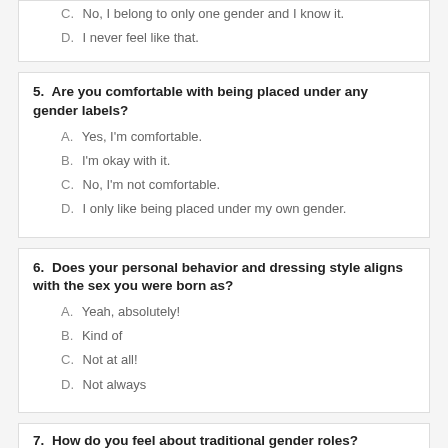C. No, I belong to only one gender and I know it.
D. I never feel like that.
5. Are you comfortable with being placed under any gender labels?
A. Yes, I'm comfortable.
B. I'm okay with it.
C. No, I'm not comfortable.
D. I only like being placed under my own gender.
6. Does your personal behavior and dressing style aligns with the sex you were born as?
A. Yeah, absolutely!
B. Kind of
C. Not at all!
D. Not always
7. How do you feel about traditional gender roles?